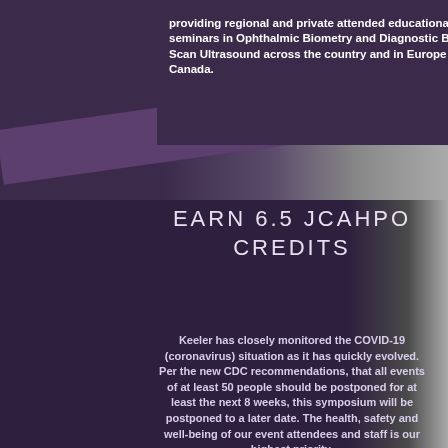[Figure (photo): Dark purple background with overlapping diagonal stripe and outdoor building/trees photo on the right side; top portion of page]
providing regional and private attended educational seminars in Ophthalmic Biometry and Diagnostic B-Scan Ultrasound across the country and in Europe and Canada.
[Figure (photo): Deep purple background section with black and white stone building and foliage on the right edge]
EARN 6.5 JCAHPO CREDITS
Keeler has closely monitored the COVID-19 (coronavirus) situation as it has quickly evolved. Per the new CDC recommendations, that all events of at least 50 people should be postponed for at least the next 8 weeks, this symposium will be postponed to a later date. The health, safety and well-being of our event attendees and staff is our highest priority. We are hopeful to reschedule these events in the future. If you h...